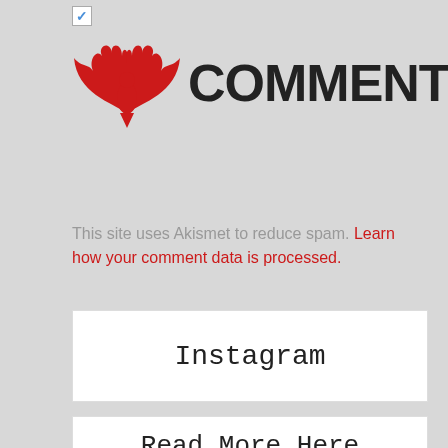[Figure (logo): CommentLuv logo with red phoenix/wings icon and text COMMENT in black, LUV in red]
This site uses Akismet to reduce spam. Learn how your comment data is processed.
Instagram
Read More Here
Craft Books
Craft Challenges
Craft Gift Ideas